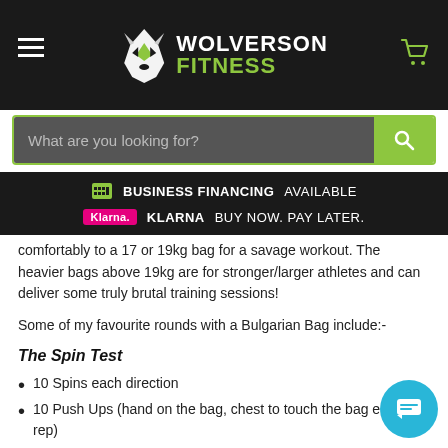Wolverson Fitness — navigation header with hamburger menu, logo, and cart icon
[Figure (screenshot): Wolverson Fitness logo with wolf icon, white text WOLVERSON and green text FITNESS]
[Figure (screenshot): Search bar with dark grey input field placeholder 'What are you looking for?' and green search button]
BUSINESS FINANCING  AVAILABLE
KLARNA  BUY NOW. PAY LATER.
comfortably to a 17 or 19kg bag for a savage workout. The heavier bags above 19kg are for stronger/larger athletes and can deliver some truly brutal training sessions!
Some of my favourite rounds with a Bulgarian Bag include:-
The Spin Test
10 Spins each direction
10 Push Ups (hand on the bag, chest to touch the bag each rep)
5 Rounds. A strong time to aim for is sub 3min 30.